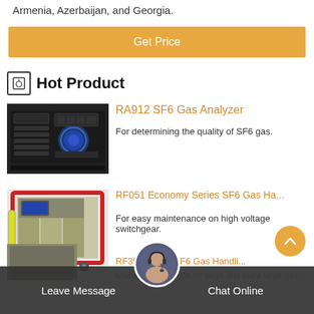Armenia, Azerbaijan, and Georgia.
Get Price
Hot Product
[Figure (photo): RA912 SF6 Gas Analyzer device photo]
RA912 SF6 Gas Analyzer
For determining the quality of SF6 gas.
[Figure (photo): RF051 Economy Series SF6 Gas Handling device photo]
RF051 Economy Series SF6 Gas Ha...
For easy maintenance on high voltage switchgear.
RF391 Series SF6 Gas Handli...
Maintenance device for large and extra large gas...
Leave Message
Chat Online